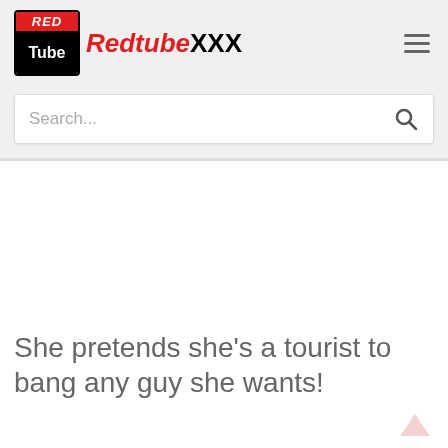[Figure (logo): Redtube XXX logo with red and black box and red italic text]
Search...
She pretends she's a tourist to bang any guy she wants!